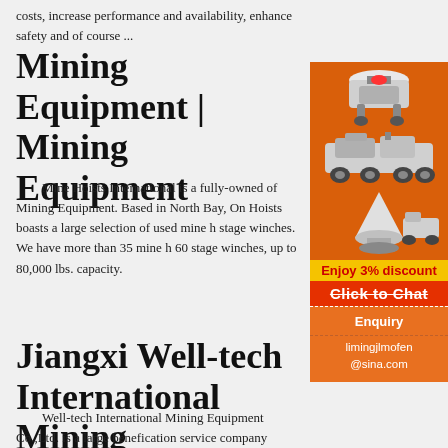costs, increase performance and availability, enhance safety and of course ...
Mining Equipment | Mining Equipment
Mine Hoists International is a fully-owned ... of Mining Equipment. Based in North Bay, On... Hoists boasts a large selection of used mine h... stage winches. We have more than 35 mine h... 60 stage winches, up to 80,000 lbs. capacity.
[Figure (illustration): Orange advertisement panel showing mining equipment images (crusher, mobile crusher, cone mill), a yellow 'Enjoy 3% discount' bar, a red 'Click to Chat' bar, an Enquiry section, and email limingjlmofen@sina.com]
Jiangxi Well-tech International Mining Equipment Co., L...
Well-tech International Mining Equipment Co.,Ltd. is a large benefication service company specialized in